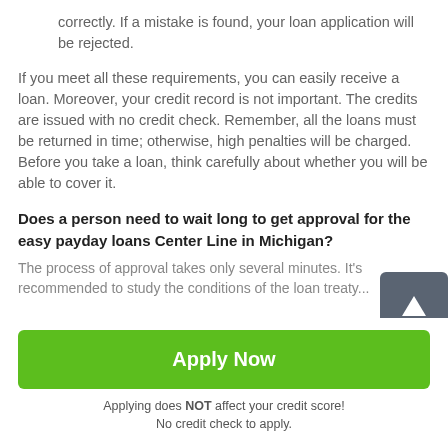correctly. If a mistake is found, your loan application will be rejected.
If you meet all these requirements, you can easily receive a loan. Moreover, your credit record is not important. The credits are issued with no credit check. Remember, all the loans must be returned in time; otherwise, high penalties will be charged. Before you take a loan, think carefully about whether you will be able to cover it.
Does a person need to wait long to get approval for the easy payday loans Center Line in Michigan?
The process of approval takes only several minutes. It's recommended to study the conditions of the loan treaty...
Apply Now
Applying does NOT affect your credit score!
No credit check to apply.